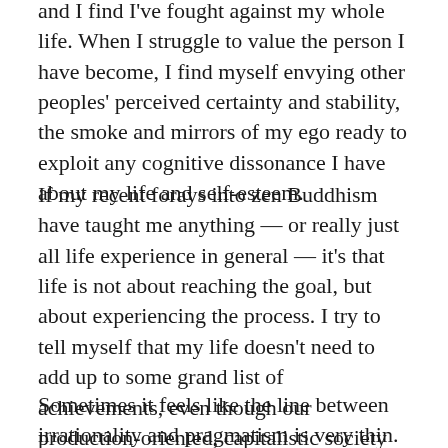...and I find I've fought against my whole life. When I struggle to value the person I have become, I find myself envying other peoples' perceived certainty and stability, the smoke and mirrors of my ego ready to exploit any cognitive dissonance I have about my life and self-esteem.
If my recent forays into zen Buddhism have taught me anything — or really just all life experience in general — it's that life is not about reaching the goal, but about experiencing the process. I try to tell myself that my life doesn't need to add up to some grand list of achievements, even though our production-oriented, capitalistic society has conditioned me otherwise.
Sometimes it feels like the line between irrationality and pragmatism is very thin. Maybe that is the